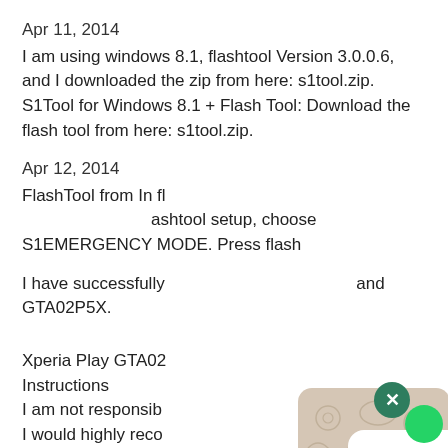Apr 11, 2014
I am using windows 8.1, flashtool Version 3.0.0.6, and I downloaded the zip from here: s1tool.zip.
S1Tool for Windows 8.1 + Flash Tool: Download the flash tool from here: s1tool.zip.
Apr 12, 2014
FlashTool from In flashtool setup, choose S1EMERGENCY MODE. Press flash
I have successfully and GTA02P5X.
Xperia Play GTA02 Instructions
I am not responsib
I would highly reco software before f
you don't, you ma
[Figure (screenshot): WhatsApp chat popup overlay showing a speech bubble with text 'How can I help you? :)' on a decorative doodle background, with a dark green close button (X) in top right corner]